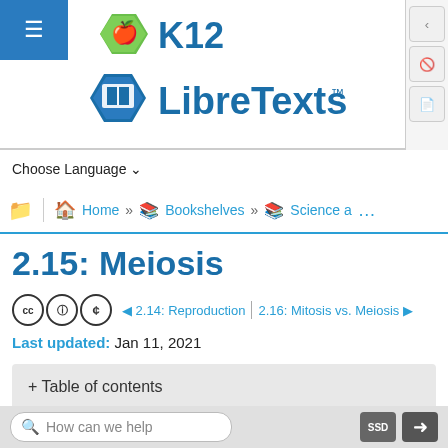[Figure (logo): LibreTexts K12 logo with green hexagon apple icon and blue hexagon book icon]
Choose Language ▾
Home » Bookshelves » Science a...
2.15: Meiosis
◄ 2.14: Reproduction | 2.16: Mitosis vs. Meiosis ►
Last updated: Jan 11, 2021
+ Table of contents
How can we help